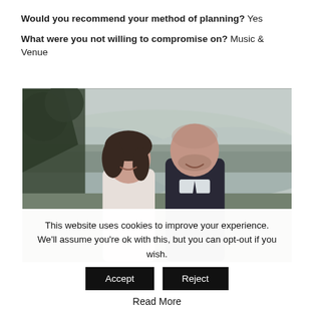Would you recommend your method of planning? Yes
What were you not willing to compromise on? Music & Venue
[Figure (photo): A couple at their wedding, smiling at each other outdoors with trees and misty hills in the background.]
This website uses cookies to improve your experience. We'll assume you're ok with this, but you can opt-out if you wish.
Accept
Reject
Read More